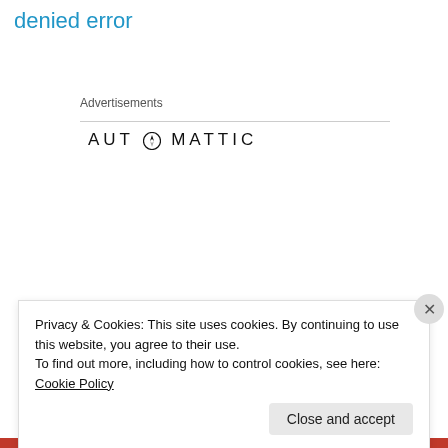denied error
Advertisements
[Figure (logo): Automattic logo with compass icon in 'O']
[Figure (photo): Advertisement: Build a better web and a better world. Apply button. Man thinking in circular photo.]
Privacy & Cookies: This site uses cookies. By continuing to use this website, you agree to their use.
To find out more, including how to control cookies, see here: Cookie Policy
Close and accept